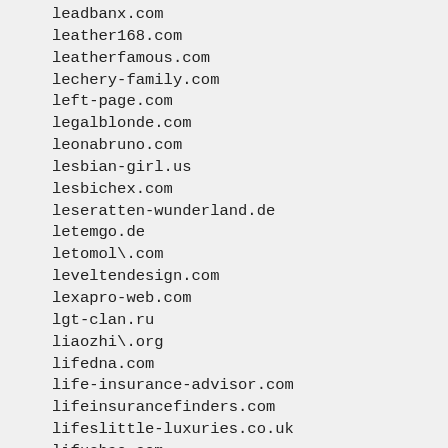leadbanx.com
leather168.com
leatherfamous.com
lechery-family.com
left-page.com
legalblonde.com
leonabruno.com
lesbian-girl.us
lesbichex.com
leseratten-wunderland.de
letemgo.de
letomol\.com
leveltendesign.com
lexapro-web.com
lgt-clan.ru
liaozhi\.org
lifedna.com
life-insurance-advisor.com
lifeinsurancefinders.com
lifeslittle-luxuries.co.uk
lifuchao.com
light518.com
likesmature.com
lindsaylife\.com
lingerie-guide\.org